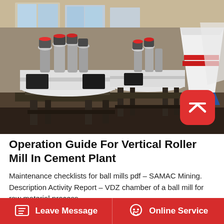[Figure (photo): Industrial photograph showing vertical roller mill machinery in a cement plant factory floor. Multiple large white cylindrical mill units with black pipe fittings and valves on top, sitting on metal frames. Large cone-shaped silos visible in background right. Factory building with windows in background.]
Operation Guide For Vertical Roller Mill In Cement Plant
Maintenance checklists for ball mills pdf – SAMAC Mining. Description Activity Report – VDZ chamber of a ball mill for raw material process-